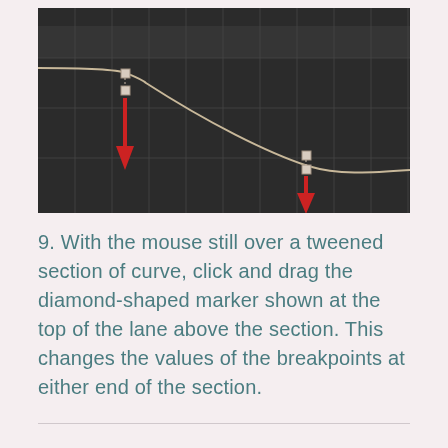[Figure (screenshot): Dark-themed curve editor showing a smooth descending automation curve with two control points (small squares) connected by dashed vertical lines to two red downward arrows, indicating draggable diamond-shaped markers on the lane. The curve starts high on the left and descends to a lower level on the right, with a grid overlay.]
9. With the mouse still over a tweened section of curve, click and drag the diamond-shaped marker shown at the top of the lane above the section. This changes the values of the breakpoints at either end of the section.